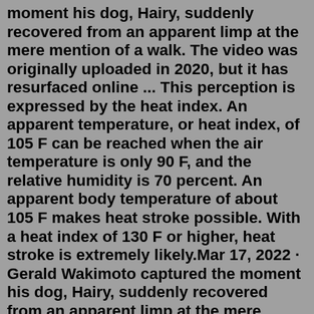moment his dog, Hairy, suddenly recovered from an apparent limp at the mere mention of a walk. The video was originally uploaded in 2020, but it has resurfaced online ... This perception is expressed by the heat index. An apparent temperature, or heat index, of 105 F can be reached when the air temperature is only 90 F, and the relative humidity is 70 percent. An apparent body temperature of about 105 F makes heat stroke possible. With a heat index of 130 F or higher, heat stroke is extremely likely.Mar 17, 2022 · Gerald Wakimoto captured the moment his dog, Hairy, suddenly recovered from an apparent limp at the mere mention of a walk. The video was originally uploaded in 2020, but it has resurfaced online ... For the 1 pm walk, you may write down, "30 minutes." For the 5-7 pm walk, you may write down, "1 hour," noting that this will be the longest walk time of the day. 3. Assign each time to a household member. Once you have the walking times scheduled out, assign each time to a member of the household.Set Up a Schedule. Ideally, you want to try